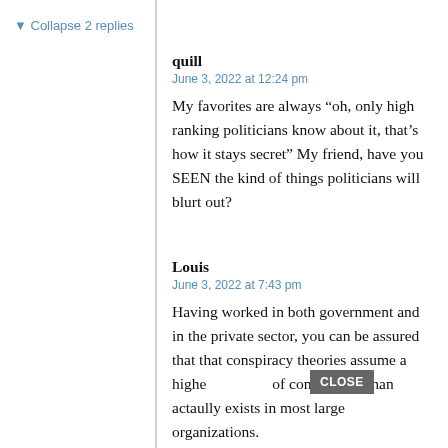▼ Collapse 2 replies
quill
June 3, 2022 at 12:24 pm
My favorites are always “oh, only high ranking politicians know about it, that’s how it stays secret” My friend, have you SEEN the kind of things politicians will blurt out?
Louis
June 3, 2022 at 7:43 pm
Having worked in both government and in the private sector, you can be assured that that conspiracy theories assume a higher level of competance than actaully exists in most large organizations.